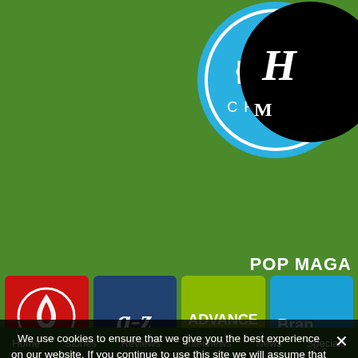[Figure (logo): Pop Charts circular logo on blue circle with white text on green background]
[Figure (logo): Partially visible black circular logo with stylized H and M letters on green background]
POP MAGA
[Figure (logo): Hotspot logo - red square with white flame icon and HOTSPOT text]
[Figure (logo): a-z Publishings logo - dark blue square with white a-z text]
[Figure (logo): ADVANCE for your advantage logo - green square with white text]
[Figure (logo): Brand - The Branding logo - blue square with white text (partially visible)]
We use cookies to ensure that we give you the best experience on our website. If you continue to use this site we will assume that you are happy with it.
Ok
Home   Stories   Reviews   Interviews   News   Specials